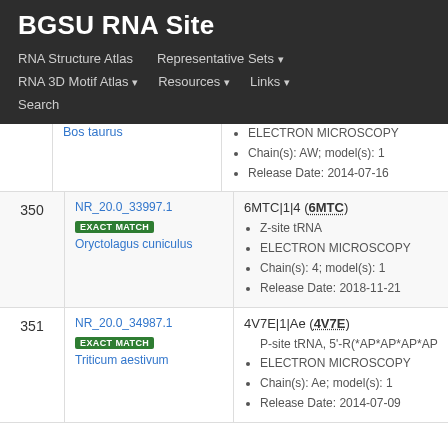BGSU RNA Site
RNA Structure Atlas
Representative Sets
RNA 3D Motif Atlas
Resources
Links
Search
| # | ID / Match / Species | Details |
| --- | --- | --- |
|  | Bos taurus | ELECTRON MICROSCOPY | Chain(s): AW; model(s): 1 | Release Date: 2014-07-16 |
| 350 | NR_20.0_33997.1 EXACT MATCH Oryctolagus cuniculus | 6MTC|1|4 (6MTC) Z-site tRNA ELECTRON MICROSCOPY Chain(s): 4; model(s): 1 Release Date: 2018-11-21 |
| 351 | NR_20.0_34987.1 EXACT MATCH Triticum aestivum | 4V7E|1|Ae (4V7E) P-site tRNA, 5'-R(*AP*AP*AP*AP*GP*AP... ELECTRON MICROSCOPY Chain(s): Ae; model(s): 1 Release Date: 2014-07-09 |